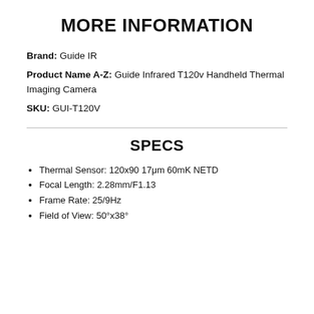MORE INFORMATION
Brand: Guide IR
Product Name A-Z: Guide Infrared T120v Handheld Thermal Imaging Camera
SKU: GUI-T120V
SPECS
Thermal Sensor: 120x90 17μm 60mK NETD
Focal Length: 2.28mm/F1.13
Frame Rate: 25/9Hz
Field of View: 50°x38°